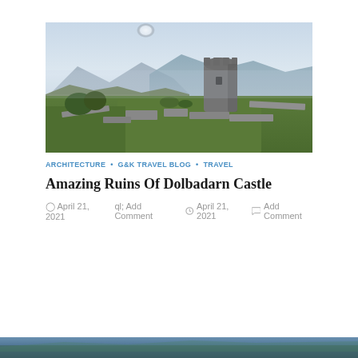[Figure (photo): Landscape photo of Dolbadarn Castle ruins in Wales, showing a round stone tower and ruined walls on a grassy hilltop, with mountains and a hazy sky in the background.]
ARCHITECTURE • G&K TRAVEL BLOG • TRAVEL
Amazing Ruins Of Dolbadarn Castle
April 21, 2021   Add Comment
[Figure (photo): Partial photo strip at bottom of page showing a landscape scene, cropped.]